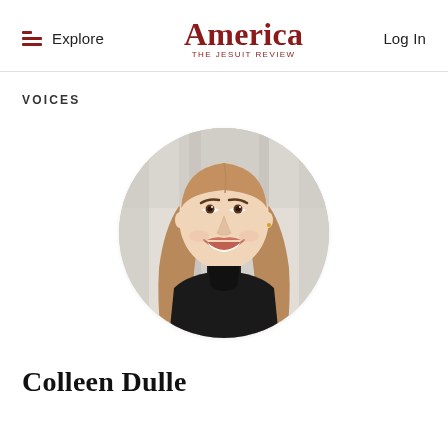Explore | America THE JESUIT REVIEW | Log In
VOICES
[Figure (photo): Circular portrait photo of Colleen Dulle, a young woman with long blonde hair wearing a black turtleneck, smiling, with a blurred indoor background.]
Colleen Dulle